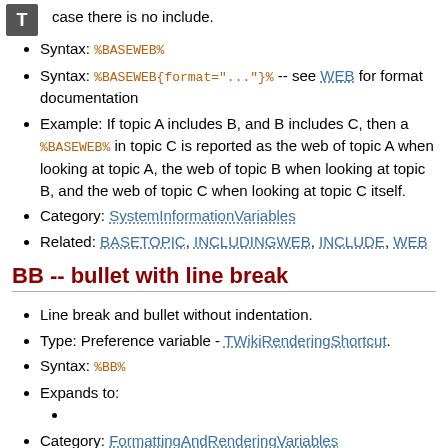[Figure (logo): Gray square icon with letter T]
case there is no include.
Syntax: %BASEWEB%
Syntax: %BASEWEB{format="..."}% -- see WEB for format documentation
Example: If topic A includes B, and B includes C, then a %BASEWEB% in topic C is reported as the web of topic A when looking at topic A, the web of topic B when looking at topic B, and the web of topic C when looking at topic C itself.
Category: SystemInformationVariables
Related: BASETOPIC, INCLUDINGWEB, INCLUDE, WEB
BB -- bullet with line break
Line break and bullet without indentation.
Type: Preference variable - TWikiRenderingShortcut.
Syntax: %BB%
Expands to:
Category: FormattingAndRenderingVariables
Related: BB2, BB3, BB4, BR, BULLET, CARET,